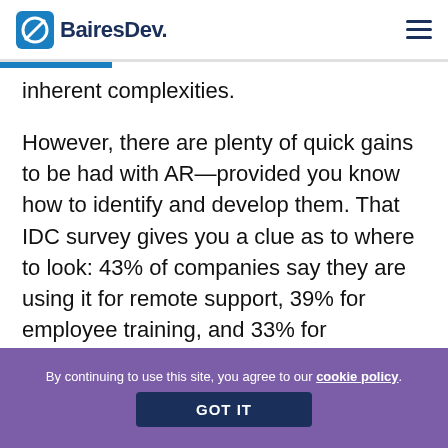BairesDev.
inherent complexities.
However, there are plenty of quick gains to be had with AR—provided you know how to identify and develop them. That IDC survey gives you a clue as to where to look: 43% of companies say they are using it for remote support, 39% for employee training, and 33% for knowledge capture. In other words, businesses are starting to see AR's potential when it comes to remote collaboration.
By continuing to use this site, you agree to our cookie policy. GOT IT